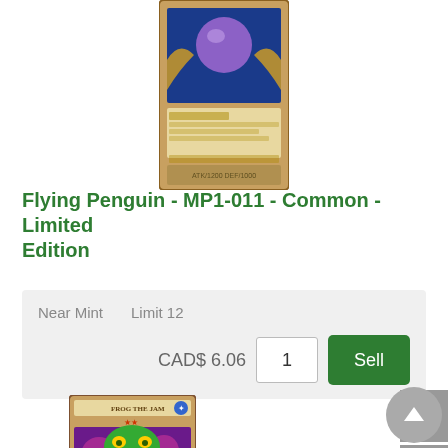[Figure (photo): Yu-Gi-Oh trading card image of Flying Penguin card shown from top, partially cropped]
Flying Penguin - MP1-011 - Common - Limited Edition
| Condition | Limit | Price | Qty | Action |
| --- | --- | --- | --- | --- |
| Near Mint | Limit 12 | CAD$ 6.06 | 1 | Sell |
[Figure (photo): Yu-Gi-Oh trading card image of Frog the Jam card, showing a green frog monster on purple background]
[Figure (illustration): Facebook share button icon (grey)]
[Figure (illustration): Twitter share button icon (grey)]
[Figure (illustration): Scroll to top arrow button (circular grey)]